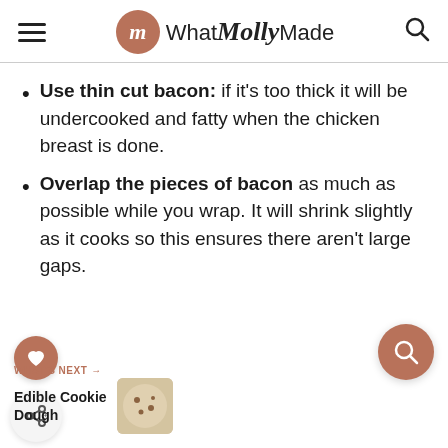What Molly Made
Use thin cut bacon: if it's too thick it will be undercooked and fatty when the chicken breast is done.
Overlap the pieces of bacon as much as possible while you wrap. It will shrink slightly as it cooks so this ensures there aren't large gaps.
WHAT'S NEXT → Edible Cookie Dough